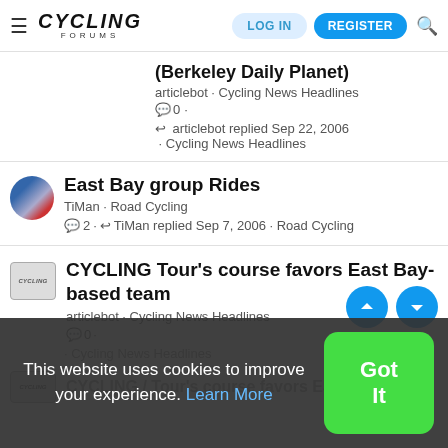CYCLING FORUMS — LOG IN | REGISTER
(Berkeley Daily Planet)
articlebot · Cycling News Headlines
0 ·
articlebot replied Sep 22, 2006 · Cycling News Headlines
East Bay group Rides
TiMan · Road Cycling
2 · TiMan replied Sep 7, 2006 · Road Cycling
CYCLING Tour's course favors East Bay-based team
articlebot · Cycling News Headlines
0 ·
articlebot replied … · Cycling News Headlines
CYCLING / Tour's course favors East Bay-
This website uses cookies to improve your experience. Learn More